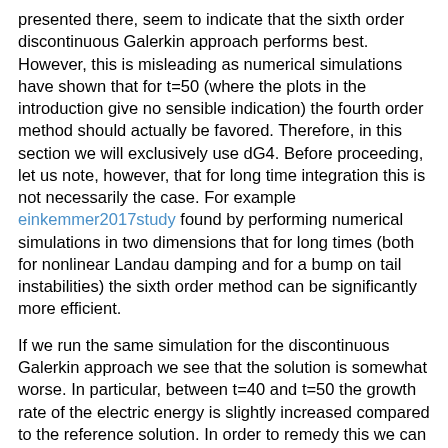presented there, seem to indicate that the sixth order discontinuous Galerkin approach performs best. However, this is misleading as numerical simulations have shown that for t=50 (where the plots in the introduction give no sensible indication) the fourth order method should actually be favored. Therefore, in this section we will exclusively use dG4. Before proceeding, let us note, however, that for long time integration this is not necessarily the case. For example einkemmer2017study found by performing numerical simulations in two dimensions that for long times (both for nonlinear Landau damping and for a bump on tail instabilities) the sixth order method can be significantly more efficient.
If we run the same simulation for the discontinuous Galerkin approach we see that the solution is somewhat worse. In particular, between t=40 and t=50 the growth rate of the electric energy is slightly increased compared to the reference solution. In order to remedy this we can increase the number of degrees of freedom per direction to 144 (corresponding to a=1.125). This means that in four dimensions 60% more degrees of freedom are required by the discontinuous Galerkin approach to achieve the same accuracy. However, as we have seen in section 3, the